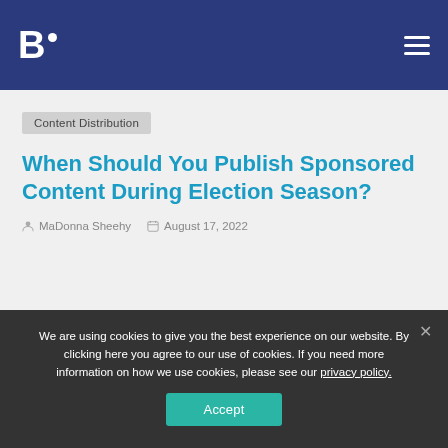[Figure (logo): B. logo with dot in white on dark blue navigation bar, with hamburger menu icon on right]
Content Distribution
When Should You Publish Sponsored Content During Election Season?
MaDonna Sheehy   August 17, 2022
We are using cookies to give you the best experience on our website. By clicking here you agree to our use of cookies. If you need more information on how we use cookies, please see our privacy policy.
Accept